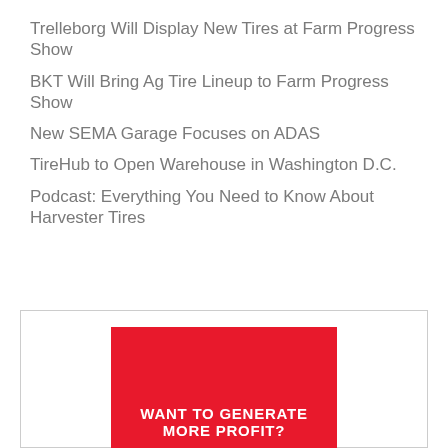Trelleborg Will Display New Tires at Farm Progress Show
BKT Will Bring Ag Tire Lineup to Farm Progress Show
New SEMA Garage Focuses on ADAS
TireHub to Open Warehouse in Washington D.C.
Podcast: Everything You Need to Know About Harvester Tires
[Figure (illustration): Advertisement with red background saying WANT TO GENERATE MORE PROFIT? and TEN logo below]